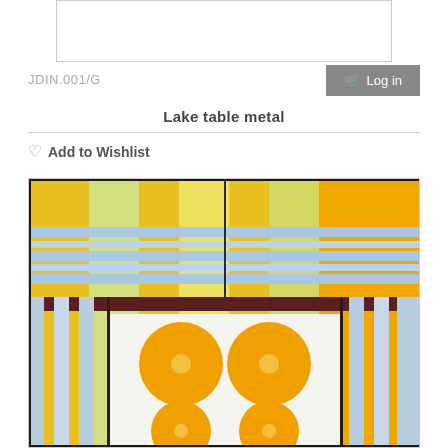[Figure (other): Top image box placeholder, empty white box with light gray border]
JDIN.001/G
Log in
Lake table metal
Add to Wishlist
[Figure (photo): Product photo showing a textile/fabric with yellow and white plaid pattern with blue horizontal stripes near the top, a dark brown horizontal band in the middle, and four large orange circles arranged in a 2x2 grid on a white section at the bottom]